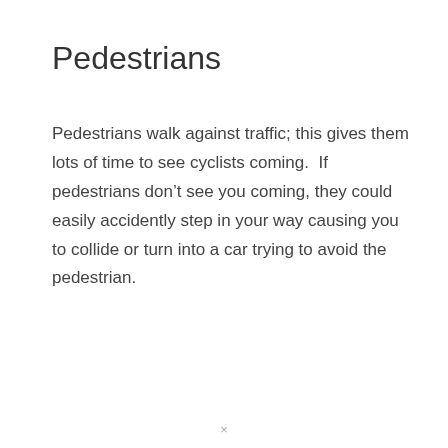Pedestrians
Pedestrians walk against traffic; this gives them lots of time to see cyclists coming.  If pedestrians don’t see you coming, they could easily accidently step in your way causing you to collide or turn into a car trying to avoid the pedestrian.
×